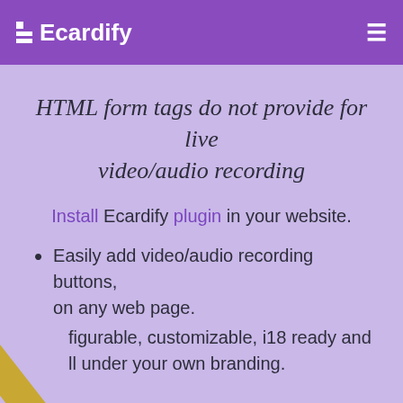Ecardify
HTML form tags do not provide for live video/audio recording
Install Ecardify plugin in your website.
Easily add video/audio recording buttons, on any web page.
figurable, customizable, i18 ready and ll under your own branding.